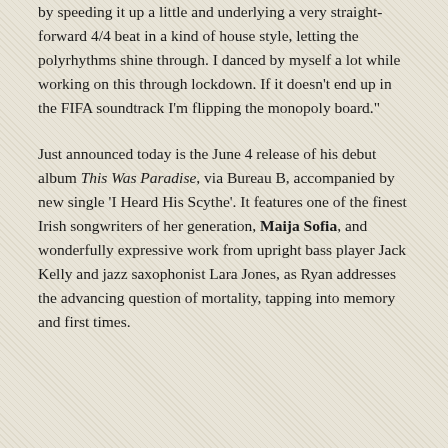by speeding it up a little and underlying a very straight-forward 4/4 beat in a kind of house style, letting the polyrhythms shine through. I danced by myself a lot while working on this through lockdown. If it doesn't end up in the FIFA soundtrack I'm flipping the monopoly board."
Just announced today is the June 4 release of his debut album This Was Paradise, via Bureau B, accompanied by new single 'I Heard His Scythe'. It features one of the finest Irish songwriters of her generation, Maija Sofia, and wonderfully expressive work from upright bass player Jack Kelly and jazz saxophonist Lara Jones, as Ryan addresses the advancing question of mortality, tapping into memory and first times.